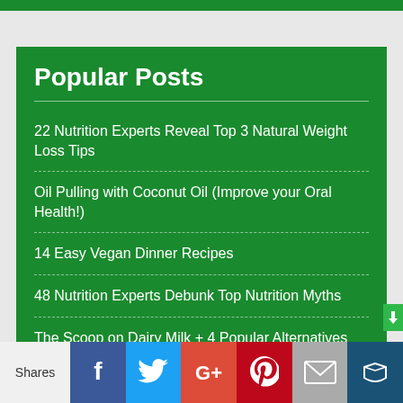Popular Posts
22 Nutrition Experts Reveal Top 3 Natural Weight Loss Tips
Oil Pulling with Coconut Oil (Improve your Oral Health!)
14 Easy Vegan Dinner Recipes
48 Nutrition Experts Debunk Top Nutrition Myths
The Scoop on Dairy Milk + 4 Popular Alternatives
Shares | Facebook | Twitter | Google+ | Pinterest | Email | Crown